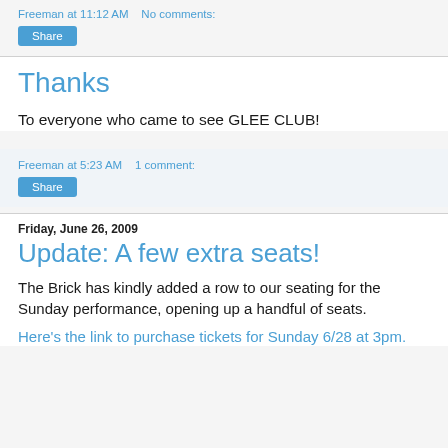Freeman at 11:12 AM   No comments:
Share
Thanks
To everyone who came to see GLEE CLUB!
Freeman at 5:23 AM   1 comment:
Share
Friday, June 26, 2009
Update: A few extra seats!
The Brick has kindly added a row to our seating for the Sunday performance, opening up a handful of seats.
Here's the link to purchase tickets for Sunday 6/28 at 3pm.